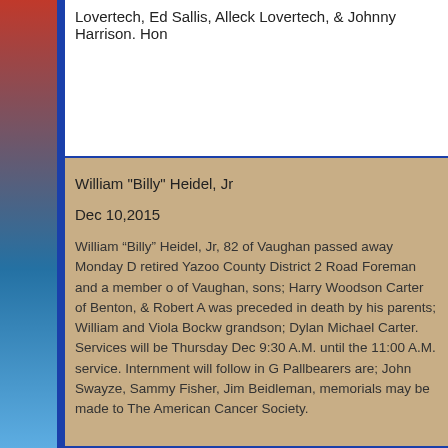Lovertech, Ed Sallis, Alleck Lovertech, & Johnny Harrison. Hon…
William "Billy" Heidel, Jr
Dec 10,2015
William “Billy” Heidel, Jr, 82 of Vaughan passed away Monday D… retired Yazoo County District 2 Road Foreman and a member o… of Vaughan, sons; Harry Woodson Carter of Benton, & Robert A… was preceded in death by his parents; William and Viola Bockw… grandson; Dylan Michael Carter. Services will be Thursday Dec… 9:30 A.M. until the 11:00 A.M. service. Internment will follow in G… Pallbearers are; John Swayze, Sammy Fisher, Jim Beidleman,… memorials may be made to The American Cancer Society.
Robert "Bob" Wilson Edwards
Dec 05,2015